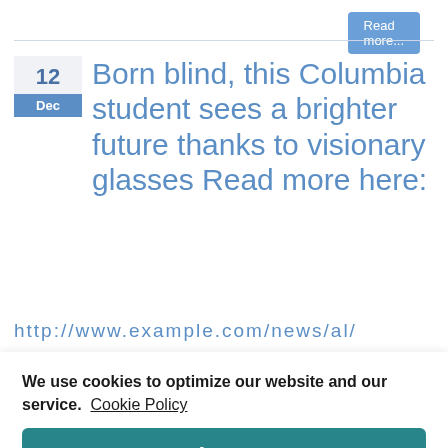Read more...
Born blind, this Columbia student sees a brighter future thanks to visionary glasses Read more here:
We use cookies to optimize our website and our service.  Cookie Policy
Accept
Pensacola State College Uses